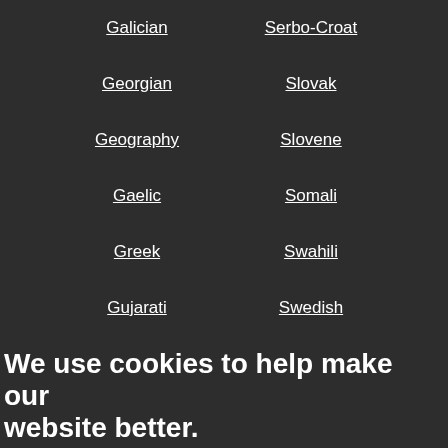Galician
Serbo-Croat
Georgian
Slovak
Geography
Slovene
Gaelic
Somali
Greek
Swahili
Gujarati
Swedish
We use cookies to help make our website better.
We use cookies to help make our website better. At the moment, your preferences allow us to use cookies. If you are happy with this please click here or simply continue to use our website. Otherwise find out more and amend your preferences here.